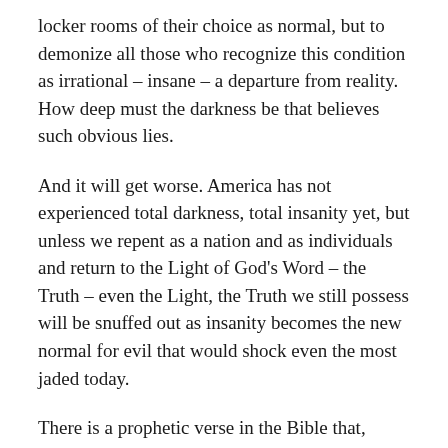locker rooms of their choice as normal, but to demonize all those who recognize this condition as irrational – insane – a departure from reality. How deep must the darkness be that believes such obvious lies.
And it will get worse. America has not experienced total darkness, total insanity yet, but unless we repent as a nation and as individuals and return to the Light of God's Word – the Truth – even the Light, the Truth we still possess will be snuffed out as insanity becomes the new normal for evil that would shock even the most jaded today.
There is a prophetic verse in the Bible that, though not speaking specifically of America or Obama of course, nevertheless describes exactly what is happening to America today as Obama continues to make insanity the new normal. It speaks of a form of God's judgment against a nation that has rebelled against Him. What is that